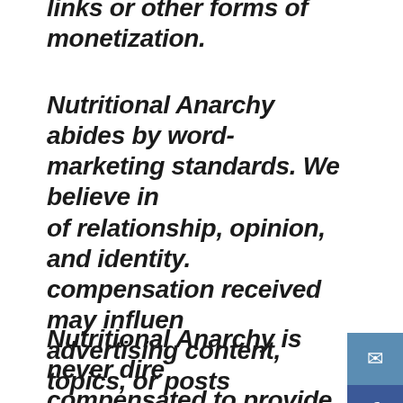links or other forms of monetization.
Nutritional Anarchy abides by word-of-mouth marketing standards. We believe in honesty of relationship, opinion, and identity. The compensation received may influence the advertising content, topics, or posts made on this blog. That content, advertising space, or post will be clearly identified as paid or sponsored content.
Nutritional Anarchy is never directly compensated to provide opinions on products,